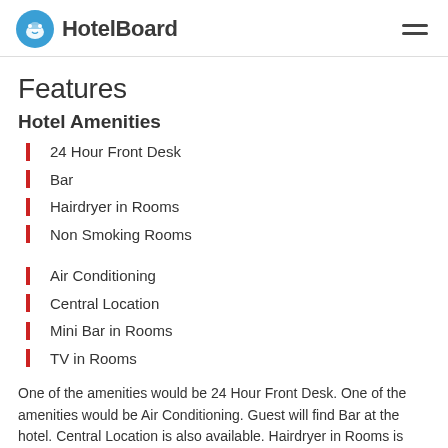HotelBoard
Features
Hotel Amenities
24 Hour Front Desk
Bar
Hairdryer in Rooms
Non Smoking Rooms
Air Conditioning
Central Location
Mini Bar in Rooms
TV in Rooms
One of the amenities would be 24 Hour Front Desk. One of the amenities would be Air Conditioning. Guest will find Bar at the hotel. Central Location is also available. Hairdryer in Rooms is offered at the facility. Guest will find Mini Bar in Rooms at the hotel. The hotel features